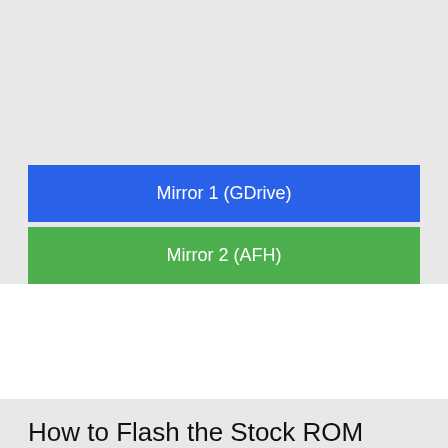[Figure (other): Blue button labeled Mirror 1 (GDrive)]
[Figure (other): Green button labeled Mirror 2 (AFH)]
How to Flash the Stock ROM
Download and extract the Stock ROM package on the